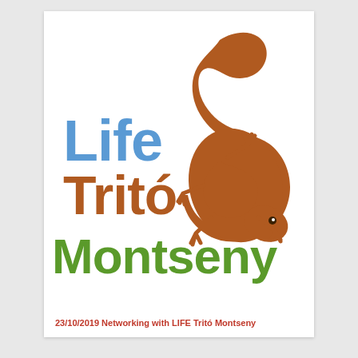[Figure (logo): LIFE Tritó Montseny logo featuring the text 'Life' in blue, 'Tritó' in brown, 'Montseny' in green, with an illustration of a brown newt/salamander curling over the top right of the text.]
23/10/2019 Networking with LIFE Tritó Montseny